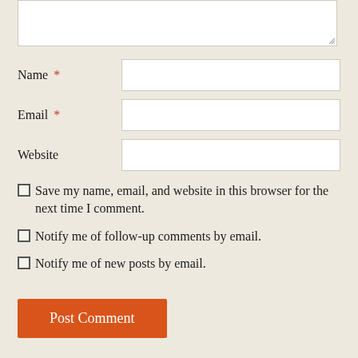[Figure (screenshot): A comment form section showing a partially visible textarea at the top, then labeled input fields for Name (required), Email (required), and Website. Below are three checkboxes: 'Save my name, email, and website in this browser for the next time I comment.', 'Notify me of follow-up comments by email.', 'Notify me of new posts by email.' And a Post Comment button.]
Name *
Email *
Website
Save my name, email, and website in this browser for the next time I comment.
Notify me of follow-up comments by email.
Notify me of new posts by email.
Post Comment